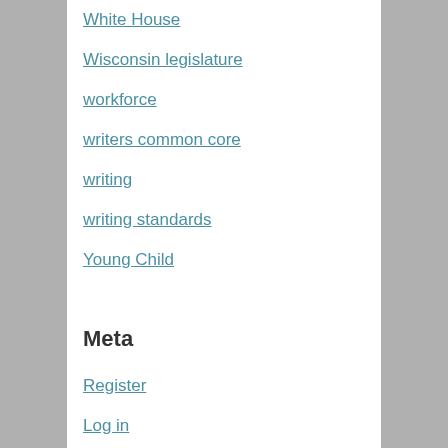White House
Wisconsin legislature
workforce
writers common core
writing
writing standards
Young Child
Meta
Register
Log in
Entries feed
Comments feed
WordPress.com